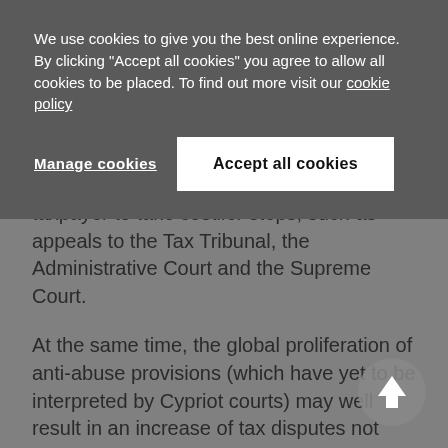We use cookies to give you the best online experience. By clicking "Accept all cookies" you agree to allow all cookies to be placed. To find out more visit our cookie policy
Manage cookies
Accept all cookies
taxpayer to take costlier steps, such as appeals to the Tax Tribunal, the Administrative Court and the Supreme Court.
At the same time, the global proliferation of anti-abuse provisions (which have yet to be interpreted by Cypriot courts) may well result in an increase of tax disputes not being resolved amicably and thus having to be referred to the Tax Tribunal, the Administrative Court or the Supreme Court.